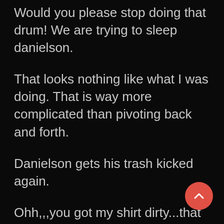Would you please stop doing that drum! We are trying to sleep danielson.
That looks nothing like what I was doing. That is way more complicated than pivoting back and forth.
Danielson gets his trash kicked again.
Ohh,,,you got my shirt dirty...that is ok...I been looking for a reason to take my shirt off anyways.
Heading into town!
[Figure (other): Coral/red circular floating action button with an upward chevron arrow icon]